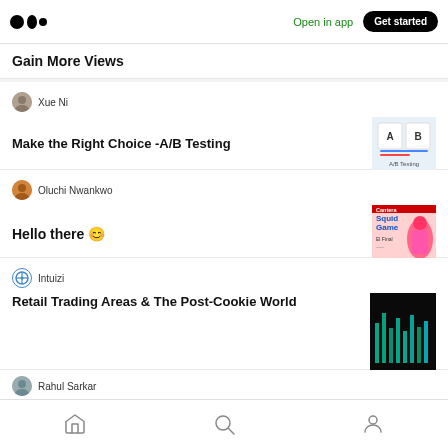Open in app | Get started
Gain More Views
Xue Ni
Make the Right Choice -A/B Testing
[Figure (illustration): A/B Testing graphic with two panels labeled A and B]
Oluchi Nwankwo
Hello there 😊
[Figure (photo): Cantera Squid Game article thumbnail showing pink hooded figure]
Intuizi
Retail Trading Areas & The Post-Cookie World
[Figure (photo): Dark teal/green aerial or data visualization image]
Rahul Sarkar